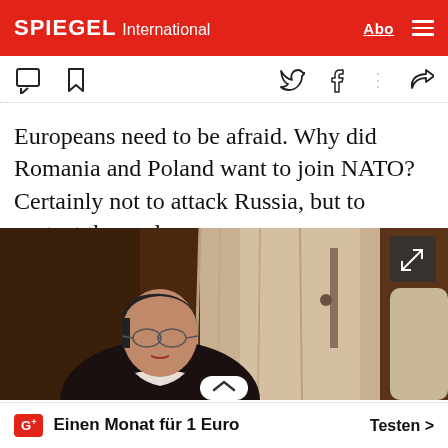SPIEGEL International
Europeans need to be afraid. Why did Romania and Poland want to join NATO? Certainly not to attack Russia, but to protect themselves.
[Figure (photo): Portrait photograph of a woman with short dark hair wearing glasses, looking sideways, in a dark jacket with white collar, against curtains and a wall with a door handle visible.]
Einen Monat für 1 Euro
Testen >